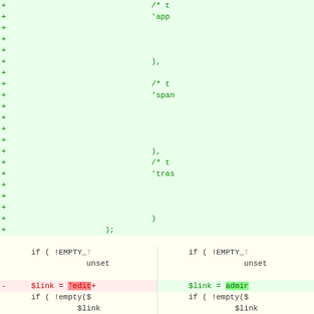[Figure (screenshot): A code diff view showing two columns (left: old code, right: new code). The top portion shows added lines (green, with + markers) on a light yellow background showing code fragments including comments /* t, 'app, ), /* t, 'span, ), /* t, 'tras, ) and );. The bottom portion shows a split diff with normal code (if (!EMPTY_, unset, $link = 'edit' highlighted red on left vs admin highlighted green on right, if (!empty($, $link, foreach ($s, $clas) with - markers for removed lines.]